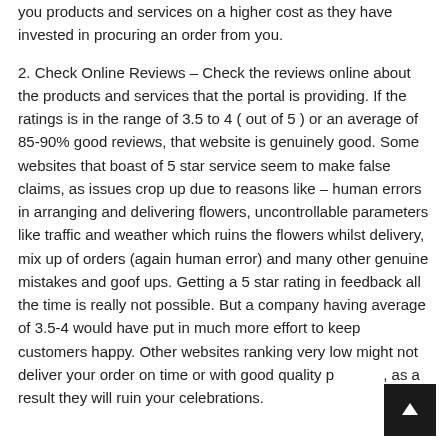you products and services on a higher cost as they have invested in procuring an order from you.
2. Check Online Reviews – Check the reviews online about the products and services that the portal is providing. If the ratings is in the range of 3.5 to 4 ( out of 5 ) or an average of 85-90% good reviews, that website is genuinely good. Some websites that boast of 5 star service seem to make false claims, as issues crop up due to reasons like – human errors in arranging and delivering flowers, uncontrollable parameters like traffic and weather which ruins the flowers whilst delivery, mix up of orders (again human error) and many other genuine mistakes and goof ups. Getting a 5 star rating in feedback all the time is really not possible. But a company having average of 3.5-4 would have put in much more effort to keep customers happy. Other websites ranking very low might not deliver your order on time or with good quality products, as a result they will ruin your celebrations.